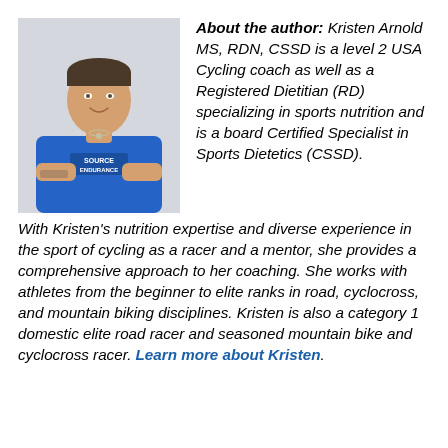[Figure (photo): Portrait photo of Kristen Arnold wearing a blue Source Endurance jersey, arms crossed, smiling, with tattoo visible on arm, against a light grey background.]
About the author: Kristen Arnold MS, RDN, CSSD is a level 2 USA Cycling coach as well as a Registered Dietitian (RD) specializing in sports nutrition and is a board Certified Specialist in Sports Dietetics (CSSD). With Kristen's nutrition expertise and diverse experience in the sport of cycling as a racer and a mentor, she provides a comprehensive approach to her coaching. She works with athletes from the beginner to elite ranks in road, cyclocross, and mountain biking disciplines. Kristen is also a category 1 domestic elite road racer and seasoned mountain bike and cyclocross racer. Learn more about Kristen.